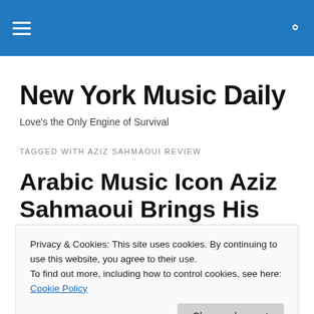New York Music Daily — navigation header with hamburger menu and search icon
New York Music Daily
Love's the Only Engine of Survival
TAGGED WITH AZIZ SAHMAOUI REVIEW
Arabic Music Icon Aziz Sahmaoui Brings His
Privacy & Cookies: This site uses cookies. By continuing to use this website, you agree to their use.
To find out more, including how to control cookies, see here: Cookie Policy
Orchestre National de Barbes, Aziz Sahmaoui fronts